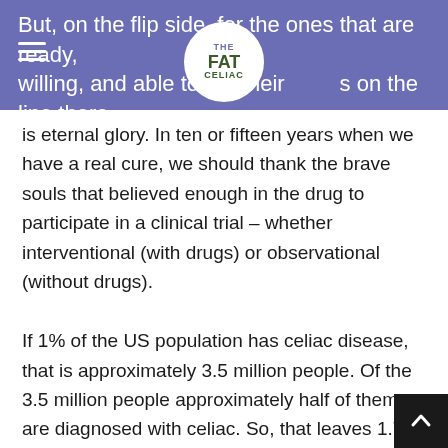But, on the flip side, for the ones that are ready, willing, and able to put their lives on the line there
is eternal glory. In ten or fifteen years when we have a real cure, we should thank the brave souls that believed enough in the drug to participate in a clinical trial – whether interventional (with drugs) or observational (without drugs).

If 1% of the US population has celiac disease, that is approximately 3.5 million people. Of the 3.5 million people approximately half of them are diagnosed with celiac. So, that leaves 1.75 million people to participate in clinical trials. Many of those may not be able to because they aren't close to someplace doing the trial, they have other disqualifying diseases,